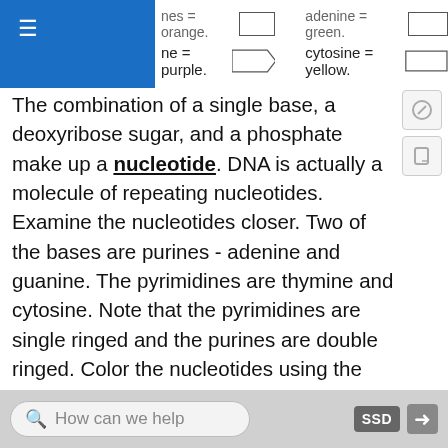[Figure (other): Top navigation bar with blue hamburger menu and DNA color legend showing boxes for different bases: adenine = green, guanine = orange, thymine = purple, cytosine = yellow]
The combination of a single base, a deoxyribose sugar, and a phosphate make up a nucleotide. DNA is actually a molecule of repeating nucleotides. Examine the nucleotides closer. Two of the bases are purines - adenine and guanine. The pyrimidines are thymine and cytosine. Note that the pyrimidines are single ringed and the purines are double ringed. Color the nucleotides using the same colors as you colored them in the double helix.
The two sides of the DNA ladder are held together loosely by hydrogen bonds. Color the hydrogen bonds gray.
How can we help  SSD